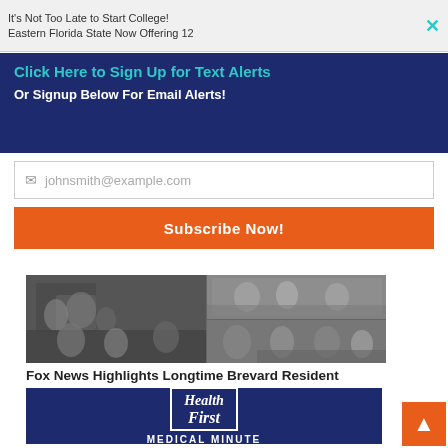It's Not Too Late to Start College! Eastern Florida State Now Offering 12
Click Here to Sign Up for Text Alerts
Or Signup Below For Email Alerts!
johnsmith@example.com
Subscribe Now!
[Figure (photo): Black and white collage photo showing groups of people in a bar/restaurant setting]
Fox News Highlights Longtime Brevard Resident Jimmy Palermo as Originator of the Sports Bar
[Figure (logo): Health First Medical Minute logo on dark blue background]